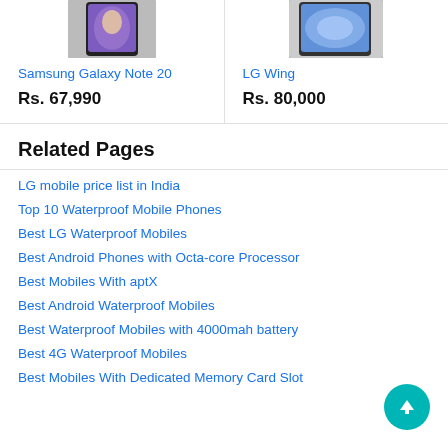[Figure (photo): Samsung Galaxy Note 20 product image (top portion, cropped)]
[Figure (photo): LG Wing product image (top portion, cropped)]
Samsung Galaxy Note 20
Rs. 67,990
LG Wing
Rs. 80,000
Related Pages
LG mobile price list in India
Top 10 Waterproof Mobile Phones
Best LG Waterproof Mobiles
Best Android Phones with Octa-core Processor
Best Mobiles With aptX
Best Android Waterproof Mobiles
Best Waterproof Mobiles with 4000mah battery
Best 4G Waterproof Mobiles
Best Mobiles With Dedicated Memory Card Slot